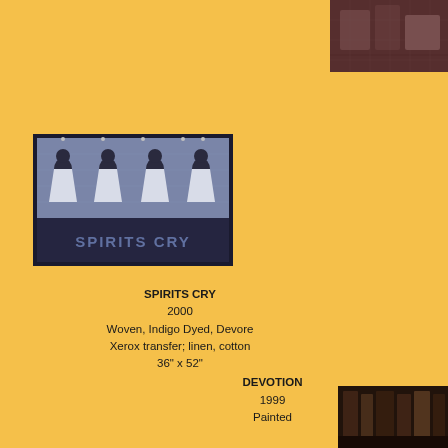[Figure (photo): Partial photo visible at top-right corner, sepia/dark reddish-brown tones, people in an outdoor scene]
[Figure (photo): Artwork photo: a woven textile piece titled 'SPIRITS CRY' showing four figures in white dresses on blue-grey indigo-dyed fabric with text 'SPIRITS CRY' at the bottom]
SPIRITS CRY
2000
Woven, Indigo Dyed, Devore
Xerox transfer; linen, cotton
36" x 52"
DEVOTION
1999
Painted
[Figure (photo): Partial photo visible at bottom-right corner, dark tones, appears to show shelves or interior space]